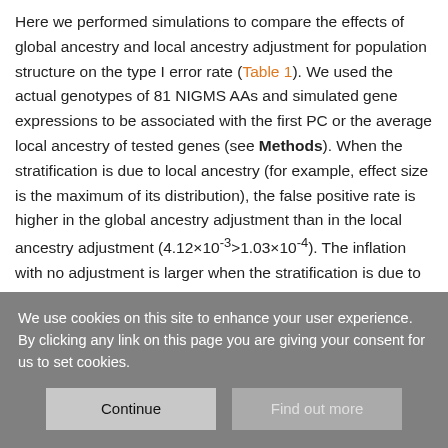Here we performed simulations to compare the effects of global ancestry and local ancestry adjustment for population structure on the type I error rate (Table 1). We used the actual genotypes of 81 NIGMS AAs and simulated gene expressions to be associated with the first PC or the average local ancestry of tested genes (see Methods). When the stratification is due to local ancestry (for example, effect size is the maximum of its distribution), the false positive rate is higher in the global ancestry adjustment than in the local ancestry adjustment (4.12×10⁻³>1.03×10⁻⁴). The inflation with no adjustment is larger when the stratification is due to local ancestry versus global ancestry (for example, effect size at the 100th percentile, 1.07×10⁻²>2.75×10⁻⁴...
We use cookies on this site to enhance your user experience. By clicking any link on this page you are giving your consent for us to set cookies.